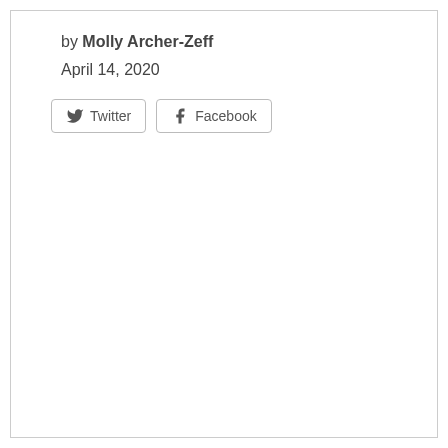by Molly Archer-Zeff
April 14, 2020
[Figure (other): Social share buttons: Twitter and Facebook]